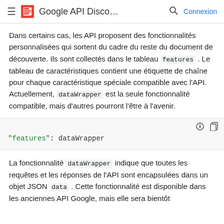Google API Disco... Connexion
Dans certains cas, les API proposent des fonctionnalités personnalisées qui sortent du cadre du reste du document de découverte. Ils sont collectés dans le tableau features . Le tableau de caractéristiques contient une étiquette de chaîne pour chaque caractéristique spéciale compatible avec l'API. Actuellement, dataWrapper est la seule fonctionnalité compatible, mais d'autres pourront l'être à l'avenir.
[Figure (screenshot): Code block showing: "features": dataWrapper]
La fonctionnalité dataWrapper indique que toutes les requêtes et les réponses de l'API sont encapsulées dans un objet JSON data . Cette fonctionnalité est disponible dans les anciennes API Google, mais elle sera bientôt